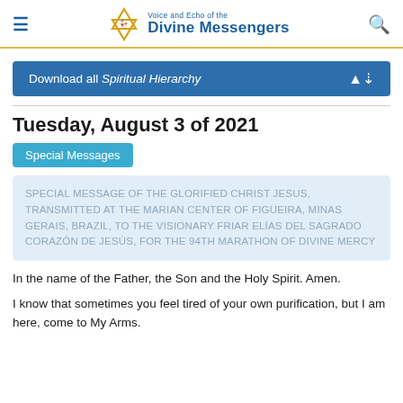Voice and Echo of the Divine Messengers
Download all Spiritual Hierarchy
Tuesday, August 3 of 2021
Special Messages
SPECIAL MESSAGE OF THE GLORIFIED CHRIST JESUS, TRANSMITTED AT THE MARIAN CENTER OF FIGUEIRA, MINAS GERAIS, BRAZIL, TO THE VISIONARY FRIAR ELÍAS DEL SAGRADO CORAZÓN DE JESÚS, FOR THE 94TH MARATHON OF DIVINE MERCY
In the name of the Father, the Son and the Holy Spirit. Amen.
I know that sometimes you feel tired of your own purification, but I am here, come to My Arms.